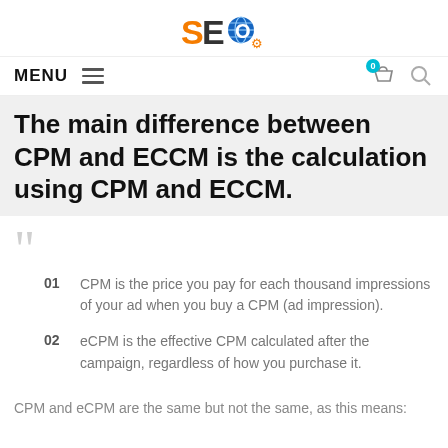[Figure (logo): SEO logo with globe and colorful text]
MENU  ≡  [cart icon with 0 badge]  [search icon]
The main difference between CPM and ECCM is the calculation using CPM and ECCM.
01  CPM is the price you pay for each thousand impressions of your ad when you buy a CPM (ad impression).
02  eCPM is the effective CPM calculated after the campaign, regardless of how you purchase it.
CPM and eCPM are the same but not the same, as this means: